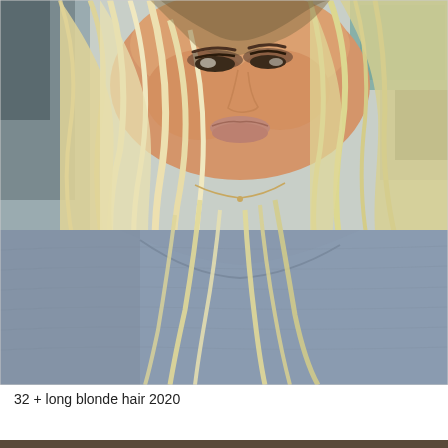[Figure (photo): A selfie-style close-up photo of a young woman with long, wavy, platinum blonde hair with darker roots (balayage style). She is wearing a heathered blue-grey crew-neck sweater and a delicate gold necklace. She is smiling slightly, wearing neutral/mauve lip color and defined eye makeup. The background shows an indoor setting, partially visible.]
32 + long blonde hair 2020